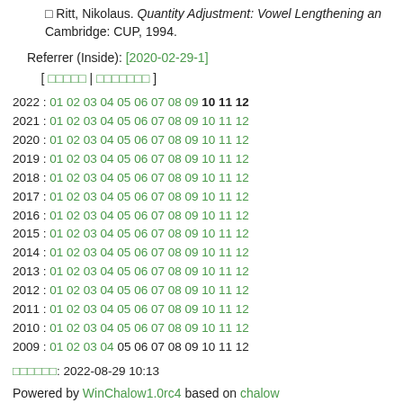□ Ritt, Nikolaus. Quantity Adjustment: Vowel Lengthening and Cambridge: CUP, 1994.
Referrer (Inside): [2020-02-29-1]
[ □□□□□ | □□□□□□□ ]
2022 : 01 02 03 04 05 06 07 08 09 10 11 12
2021 : 01 02 03 04 05 06 07 08 09 10 11 12
2020 : 01 02 03 04 05 06 07 08 09 10 11 12
2019 : 01 02 03 04 05 06 07 08 09 10 11 12
2018 : 01 02 03 04 05 06 07 08 09 10 11 12
2017 : 01 02 03 04 05 06 07 08 09 10 11 12
2016 : 01 02 03 04 05 06 07 08 09 10 11 12
2015 : 01 02 03 04 05 06 07 08 09 10 11 12
2014 : 01 02 03 04 05 06 07 08 09 10 11 12
2013 : 01 02 03 04 05 06 07 08 09 10 11 12
2012 : 01 02 03 04 05 06 07 08 09 10 11 12
2011 : 01 02 03 04 05 06 07 08 09 10 11 12
2010 : 01 02 03 04 05 06 07 08 09 10 11 12
2009 : 01 02 03 04 05 06 07 08 09 10 11 12
□□□□□□: 2022-08-29 10:13
Powered by WinChalow1.0rc4 based on chalow